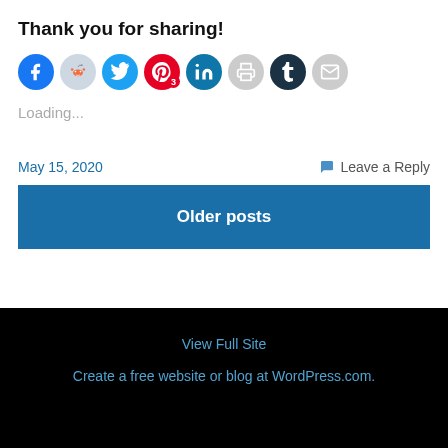Thank you for sharing!
[Figure (infographic): Row of social sharing icon buttons: Facebook (blue), Reddit (light blue-grey), Twitter (cyan), Pinterest (red, badge '3'), LinkedIn (teal), Print (light grey), Tumblr (dark navy), Email (light grey)]
Loading...
May 15, 2020
Leave a Reply
Older posts
View Full Site
Create a free website or blog at WordPress.com.